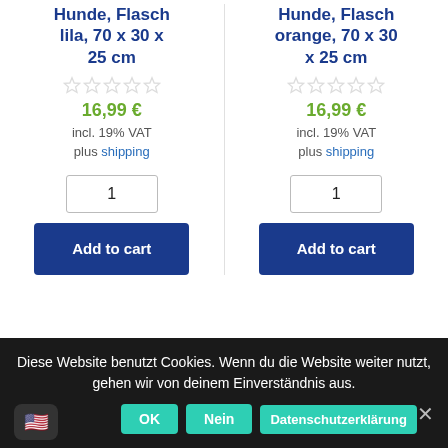Hunde, Flasch lila, 70 x 30 x 25 cm
16,99 €
incl. 19% VAT
plus shipping
1
Add to cart
Hunde, Flasch orange, 70 x 30 x 25 cm
16,99 €
incl. 19% VAT
plus shipping
1
Add to cart
Diese Website benutzt Cookies. Wenn du die Website weiter nutzt, gehen wir von deinem Einverständnis aus.